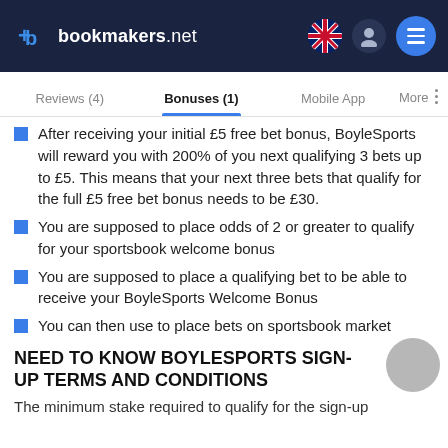bookmakers.net
Reviews (4)   Bonuses (1)   Mobile App   More
After receiving your initial £5 free bet bonus, BoyleSports will reward you with 200% of you next qualifying 3 bets up to £5. This means that your next three bets that qualify for the full £5 free bet bonus needs to be £30.
You are supposed to place odds of 2 or greater to qualify for your sportsbook welcome bonus
You are supposed to place a qualifying bet to be able to receive your BoyleSports Welcome Bonus
You can then use to place bets on sportsbook market
NEED TO KNOW BOYLESPORTS SIGN-UP TERMS AND CONDITIONS
The minimum stake required to qualify for the sign-up